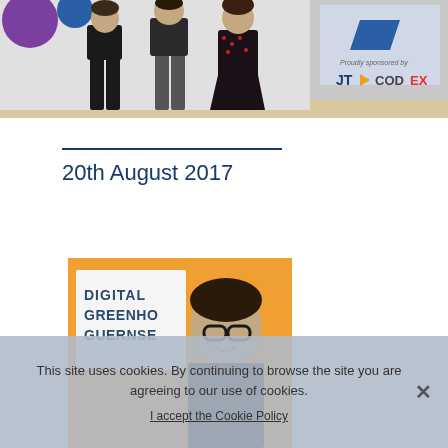[Figure (photo): Group photo of three people standing in front of a branded backdrop with 'Proudly sponsored by JT Codex' signage]
20th August 2017
[Figure (photo): Person smiling in front of a Digital Greenhouse Guernsey sign with orange background]
This site uses cookies. By continuing to browse the site you are agreeing to our use of cookies.
I accept the Cookie Policy